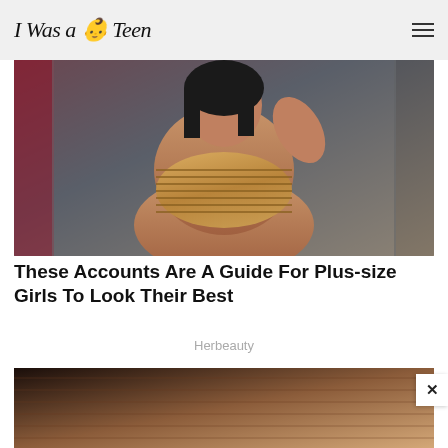I Was a 👶 Teen
[Figure (photo): A plus-size woman posing in a fitting room wearing a gold/copper mesh bandeau top, with dark hair, against a gray curtain backdrop.]
These Accounts Are A Guide For Plus-size Girls To Look Their Best
Herbeauty
[Figure (photo): Partial view of a second image showing a brown/copper textured surface, partially cropped.]
Search for
01.  Easy Lamb Stew Recipes
02.  Beef Stew Recipe
Yahoo! Search | Sponsored